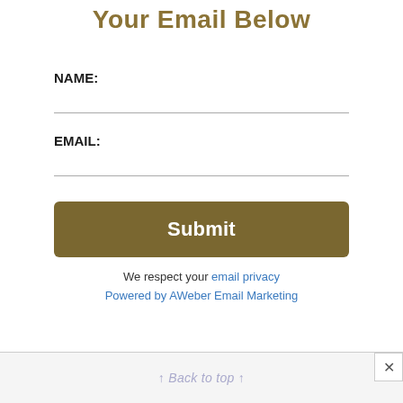Your Email Below
NAME:
EMAIL:
Submit
We respect your email privacy
Powered by AWeber Email Marketing
↑ Back to top ↑